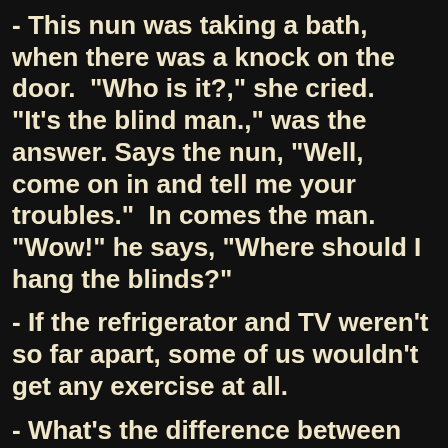- This nun was taking a bath, when there was a knock on the door.  "Who is it?," she cried.  "It's the blind man.," was the answer.  Says the nun, "Well, come on in and tell me your troubles."  In comes the man.  "Wow!" he says, "Where should I hang the blinds?"
- If the refrigerator and TV weren't so far apart, some of us wouldn't get any exercise at all.
- What's the difference between men and government bonds? Bonds mature.